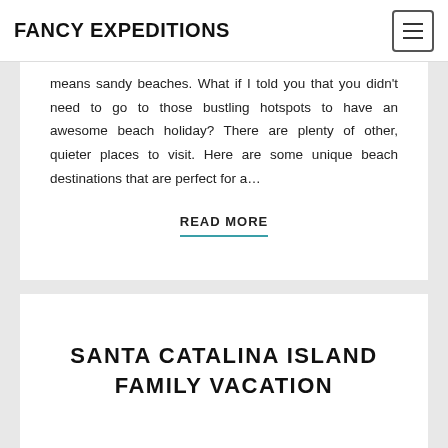FANCY EXPEDITIONS
means sandy beaches. What if I told you that you didn't need to go to those bustling hotspots to have an awesome beach holiday? There are plenty of other, quieter places to visit. Here are some unique beach destinations that are perfect for a…
READ MORE
SANTA CATALINA ISLAND FAMILY VACATION